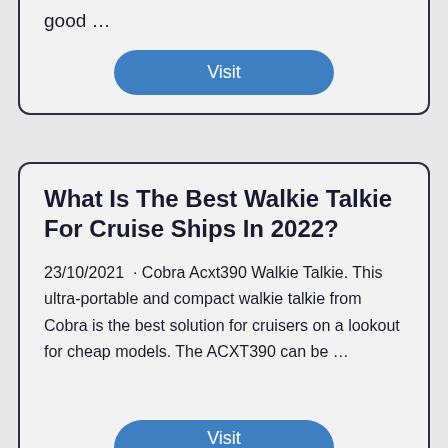good …
Visit
What Is The Best Walkie Talkie For Cruise Ships In 2022?
23/10/2021  · Cobra Acxt390 Walkie Talkie. This ultra-portable and compact walkie talkie from Cobra is the best solution for cruisers on a lookout for cheap models. The ACXT390 can be …
Visit